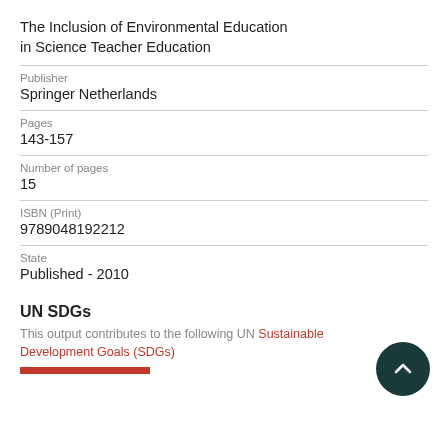The Inclusion of Environmental Education in Science Teacher Education
Publisher
Springer Netherlands
Pages
143-157
Number of pages
15
ISBN (Print)
9789048192212
State
Published - 2010
UN SDGs
This output contributes to the following UN Sustainable Development Goals (SDGs)